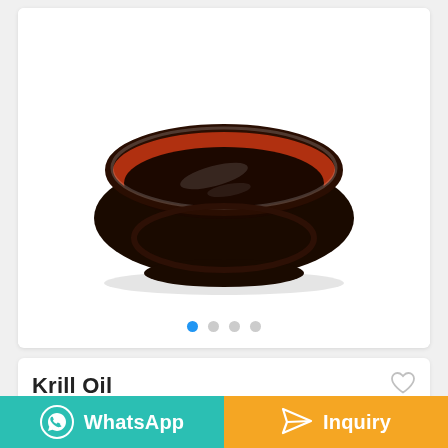[Figure (photo): A glass bowl filled with dark reddish-brown krill oil, viewed from slightly above, on a white background.]
Krill Oil
WhatsApp
Inquiry